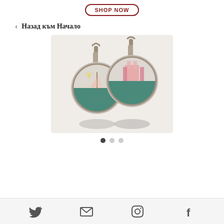[Figure (other): SHOP NOW button with rounded rectangle border in dark red/maroon color]
< Назад към Начало
[Figure (photo): Two decorative glass dome earrings with leverback clasps, showing sailboat/nautical scene artwork inside circular cabochons with teal and pink colors, photographed on white background]
[Figure (other): Three pagination dots: first dot filled/dark, second and third dots light grey]
[Figure (other): Social media icons row: Twitter bird, email envelope, Instagram camera, Facebook F logo]